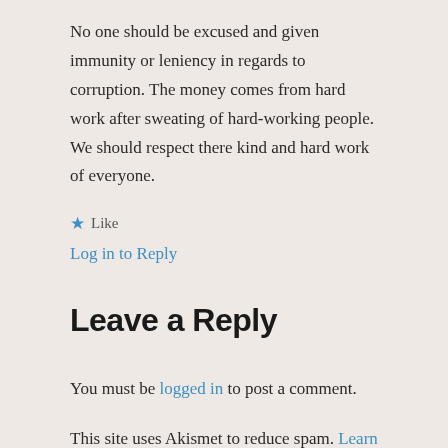No one should be excused and given immunity or leniency in regards to corruption. The money comes from hard work after sweating of hard-working people. We should respect there kind and hard work of everyone.
★ Like
Log in to Reply
Leave a Reply
You must be logged in to post a comment.
This site uses Akismet to reduce spam. Learn how your comment data is processed.